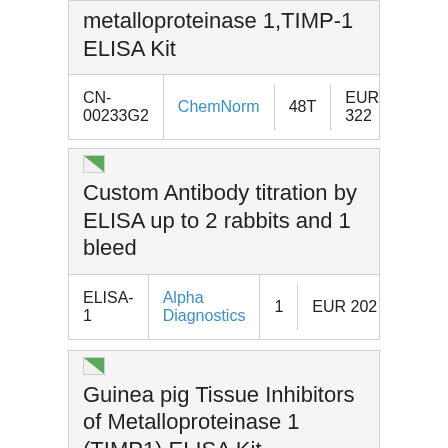| Product | Catalog | Supplier | Qty | Price |
| --- | --- | --- | --- | --- |
| metalloproteinase 1,TIMP-1 ELISA Kit | CN-00233G2 | ChemNorm | 48T | EUR 322 |
| Product | Catalog | Supplier | Qty | Price |
| --- | --- | --- | --- | --- |
| Custom Antibody titration by ELISA up to 2 rabbits and 1 bleed | ELISA-1 | Alpha Diagnostics | 1 | EUR 202 |
| Product | Catalog | Supplier | Qty | Price |
| --- | --- | --- | --- | --- |
| Guinea pig Tissue Inhibitors of Metalloproteinase 1 (TIMP1) ELISA Kit |  |  |  |  |